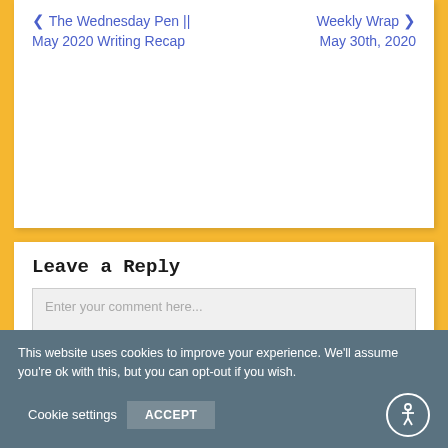< The Wednesday Pen || May 2020 Writing Recap
Weekly Wrap > May 30th, 2020
Leave a Reply
Enter your comment here...
This website uses cookies to improve your experience. We'll assume you're ok with this, but you can opt-out if you wish.
Cookie settings
ACCEPT